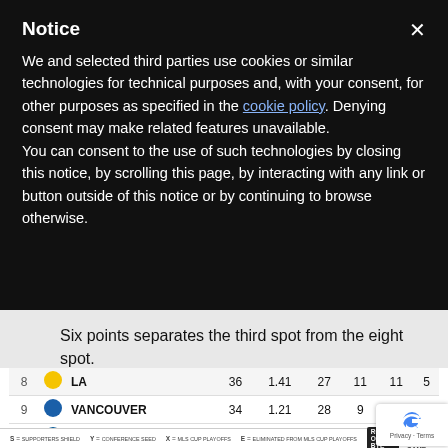Notice
We and selected third parties use cookies or similar technologies for technical purposes and, with your consent, for other purposes as specified in the cookie policy. Denying consent may make related features unavailable.
You can consent to the use of such technologies by closing this notice, by scrolling this page, by interacting with any link or button outside of this notice or by continuing to browse otherwise.
Six points separates the third spot from the eight spot.
|  |  | Name | Pts | PPG | GP | W | L | GD |
| --- | --- | --- | --- | --- | --- | --- | --- | --- |
| 8 | LA |  | 36 | 1.41 | 27 | 11 | 11 | 5 |
| 9 | VANCOUVER |  | 34 | 1.21 | 28 | 9 | 12 | 7 |
| 10 | SEATTLE |  | 33 | 1.18 | 28 | 10 | 15 | 3 |
| 11 | COLORADO |  | 32 | 1.14 | 28 | 8 | 12 | 8 |
| 12 | HOUSTON |  | 29 | 1.04 | 28 | 8 | 15 | 5 |
| 13 | KANSAS CITY |  | 29 | 1.04 | 28 | 8 | 15 |  |
| 14 | SAN JOSE |  | 27 | 1.00 | 27 | 6 | 12 |  |
S = SUPPORTERS SHIELD   Y = CONFERENCE SEED   X = MLS CUP PLAYOFFS   E = ELIMINATED FROM MLS CUP PLAYOFFS   ROUND ONE BYE   ROUND ONE HOME GAME